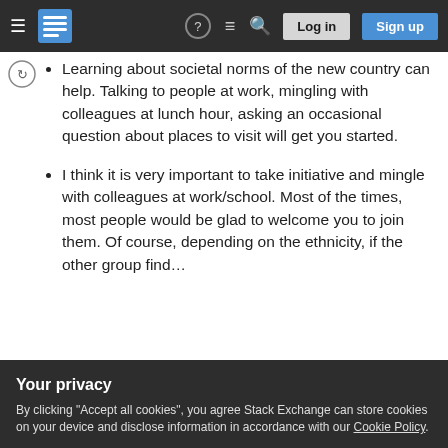Stack Exchange navigation bar with hamburger menu, logo, help, chat, search, Log in, Sign up
Learning about societal norms of the new country can help. Talking to people at work, mingling with colleagues at lunch hour, asking an occasional question about places to visit will get you started.
I think it is very important to take initiative and mingle with colleagues at work/school. Most of the times, most people would be glad to welcome you to join them. Of course, depending on the ethnicity, if the other group find…
Your privacy
By clicking "Accept all cookies", you agree Stack Exchange can store cookies on your device and disclose information in accordance with our Cookie Policy.
Accept all cookies   Customize settings
pointing/talking/driving etc. can provide on